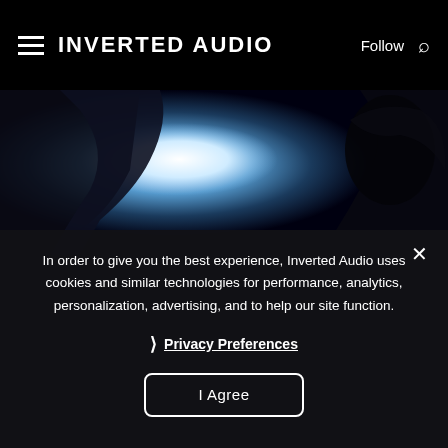INVERTED AUDIO
[Figure (photo): Dark silhouette of a person against bright blue-white light background, dramatic contrast photo used as website hero image]
In order to give you the best experience, Inverted Audio uses cookies and similar technologies for performance, analytics, personalization, advertising, and to help our site function.
❯ Privacy Preferences
I Agree